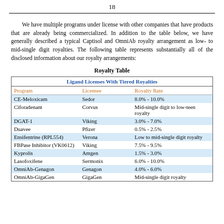18
We have multiple programs under license with other companies that have products that are already being commercialized. In addition to the table below, we have generally described a typical Captisol and OmniAb royalty arrangement as low- to mid-single digit royalties. The following table represents substantially all of the disclosed information about our royalty arrangements:
Royalty Table
| Program | Licensee | Royalty Rate |
| --- | --- | --- |
| CE-Meloxicam | Sedor | 8.0% - 10.0% |
| Ciforadenant | Corvus | Mid-single digit to low-teen royalty |
| DGAT-1 | Viking | 3.0% - 7.0% |
| Duavee | Pfizer | 0.5% - 2.5% |
| Ensifentrine (RPL554) | Verona | Low to mid-single digit royalty |
| FBPase Inhibitor (VK0612) | Viking | 7.5% - 9.5% |
| Kyprolis | Amgen | 1.5% - 3.0% |
| Lasofoxifene | Sermonix | 6.0% - 10.0% |
| OmniAb-Genagon | Genagon | 4.0% - 6.0% |
| OmniAb-GigaGen | GigaGen | Mid-single digit royalty |